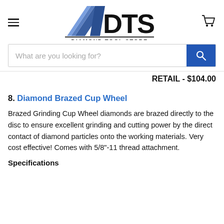DTS Diamond Tool Store
What are you looking for?
RETAIL - $104.00
8. Diamond Brazed Cup Wheel
Brazed Grinding Cup Wheel diamonds are brazed directly to the disc to ensure excellent grinding and cutting power by the direct contact of diamond particles onto the working materials. Very cost effective! Comes with 5/8"-11 thread attachment.
Specifications